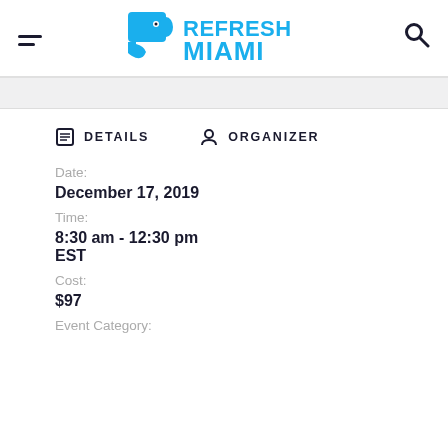Refresh Miami - navigation header with hamburger menu, Refresh Miami logo, and search icon
DETAILS   ORGANIZER
Date:
December 17, 2019
Time:
8:30 am - 12:30 pm
EST
Cost:
$97
Event Category: